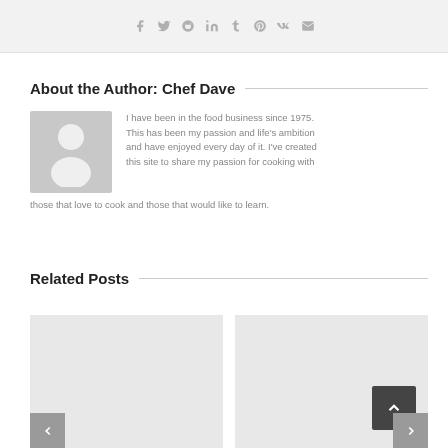[Figure (infographic): Social media sharing icons bar at top: Facebook, Twitter, Reddit, LinkedIn, Tumblr, Pinterest, VK, Email]
About the Author: Chef Dave
[Figure (photo): Generic grey avatar/profile picture placeholder with silhouette of a person]
I have been in the food business since 1975. This has been my passion and life's ambition and have enjoyed every day of it. I've created this site to share my passion for cooking with those that love to cook and those that would like to learn.
Related Posts
[Figure (photo): Grey placeholder thumbnail for related post 1 with left navigation arrow]
[Figure (photo): Grey placeholder thumbnail for related post 2 with scroll-to-top button and right navigation arrow]